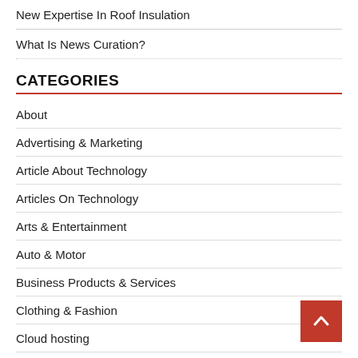New Expertise In Roof Insulation
What Is News Curation?
CATEGORIES
About
Advertising & Marketing
Article About Technology
Articles On Technology
Arts & Entertainment
Auto & Motor
Business Products & Services
Clothing & Fashion
Cloud hosting
Computer News